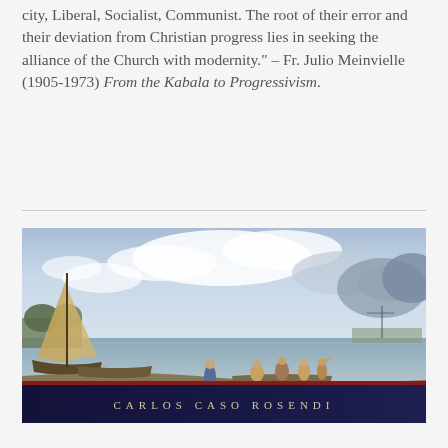city, Liberal, Socialist, Communist. The root of their error and their deviation from Christian progress lies in seeking the alliance of the Church with modernity." – Fr. Julio Meinvielle (1905-1973) From the Kabala to Progressivism.
[Figure (illustration): A maritime landscape painting showing sailing boats near a shore, figures in a small rowboat, calm sea, cloudy sky, classical or Renaissance style. At the bottom a dark navy banner with the text CARLOS CASO ROSENDI in gold spaced letters.]